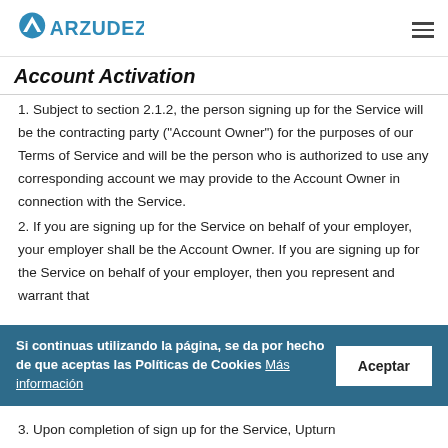ARZUDEZA
Account Activation
1. Subject to section 2.1.2, the person signing up for the Service will be the contracting party (“Account Owner”) for the purposes of our Terms of Service and will be the person who is authorized to use any corresponding account we may provide to the Account Owner in connection with the Service.
2. If you are signing up for the Service on behalf of your employer, your employer shall be the Account Owner. If you are signing up for the Service on behalf of your employer, then you represent and warrant that
Si continuas utilizando la página, se da por hecho de que aceptas las Políticas de Cookies Más información
3. Upon completion of sign up for the Service, Upturn